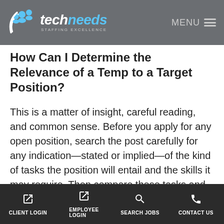techneeds STAFFING EXCELLENCE | MENU
How Can I Determine the Relevance of a Temp to a Target Position?
This is a matter of insight, careful reading, and common sense. Before you apply for any open position, search the post carefully for any indication—stated or implied—of the kind of tasks the position will entail and the skills it may require. Then compare these tasks and skills with the demands of each of your temp positions. Use your judgment to sort and highlight the jobs and tasks that may be of interest to your potential
CLIENT LOGIN | EMPLOYEE LOGIN | SEARCH JOBS | CONTACT US